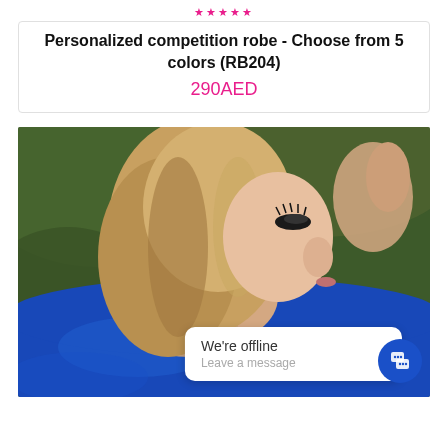★★★★★
Personalized competition robe - Choose from 5 colors (RB204)
290AED
[Figure (photo): Woman with long blonde hair wearing a royal blue satin competition robe, photographed from behind/side profile. A chat widget overlay shows 'We're offline / Leave a message' with a blue chat button icon.]